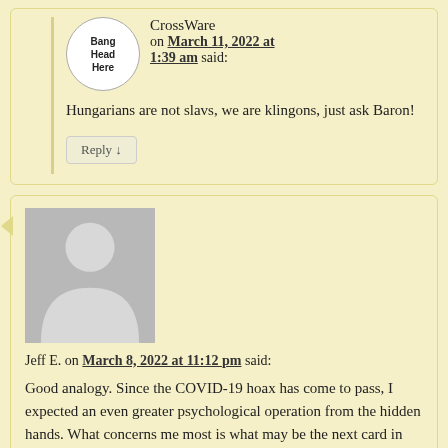CrossWare on March 11, 2022 at 1:39 am said:
Hungarians are not slavs, we are klingons, just ask Baron!
Reply
Jeff E. on March 8, 2022 at 11:12 pm said:
Good analogy. Since the COVID-19 hoax has come to pass, I expected an even greater psychological operation from the hidden hands. What concerns me most is what may be the next card in their deck. I presume it somehow includes a western led one